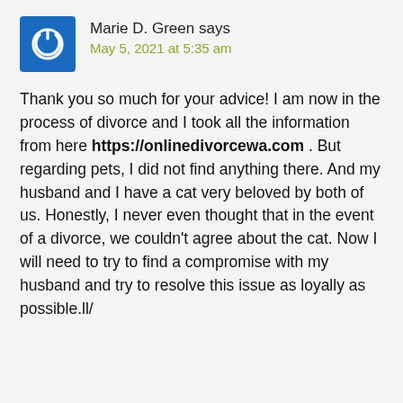Marie D. Green says
May 5, 2021 at 5:35 am
Thank you so much for your advice! I am now in the process of divorce and I took all the information from here https://onlinedivorcewa.com . But regarding pets, I did not find anything there. And my husband and I have a cat very beloved by both of us. Honestly, I never even thought that in the event of a divorce, we couldn't agree about the cat. Now I will need to try to find a compromise with my husband and try to resolve this issue as loyally as possible.ll/